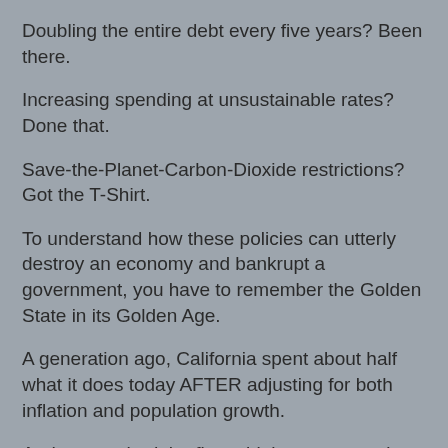Doubling the entire debt every five years? Been there.
Increasing spending at unsustainable rates? Done that.
Save-the-Planet-Carbon-Dioxide restrictions? Got the T-Shirt.
To understand how these policies can utterly destroy an economy and bankrupt a government, you have to remember the Golden State in its Golden Age.
A generation ago, California spent about half what it does today AFTER adjusting for both inflation and population growth.
And yet, we had the finest highway system in the world and the finest public school system in the country. California offered a FREE university education to every Californian who wanted one. We produced water and electricity so cheaply that many communities didn't bother to measure the stuff. Our unemployment rate consistently ran well below the national rate and its diversified economy was nearly